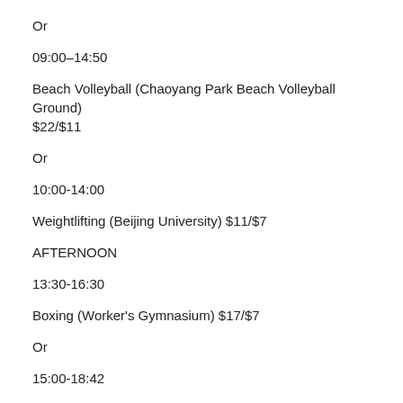Or
09:00–14:50
Beach Volleyball (Chaoyang Park Beach Volleyball Ground) $22/$11
Or
10:00-14:00
Weightlifting (Beijing University) $11/$7
AFTERNOON
13:30-16:30
Boxing (Worker's Gymnasium) $17/$7
Or
15:00-18:42
Canoe/Kayak Slalom (Shunyi Olympic Rowing Park) $7
NIGHT